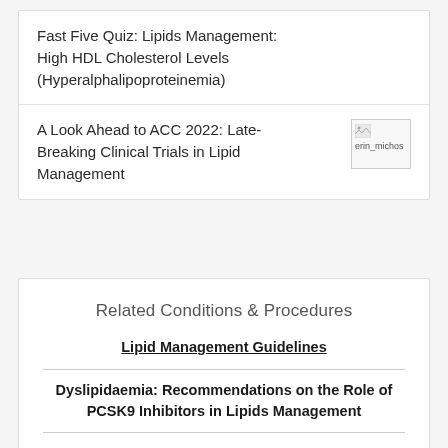Fast Five Quiz: Lipids Management: High HDL Cholesterol Levels (Hyperalphalipoproteinemia)
A Look Ahead to ACC 2022: Late-Breaking Clinical Trials in Lipid Management
[Figure (photo): Broken image thumbnail labeled erin_michos]
Related Conditions & Procedures
Lipid Management Guidelines
Dyslipidaemia: Recommendations on the Role of PCSK9 Inhibitors in Lipids Management